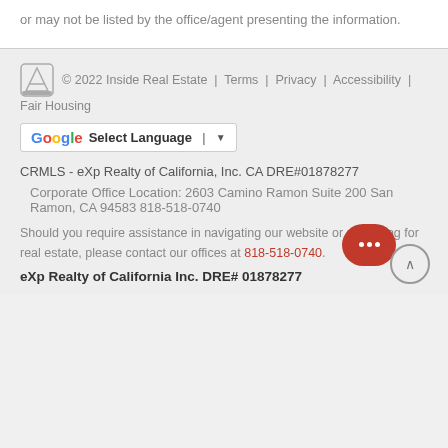or may not be listed by the office/agent presenting the information.
© 2022 Inside Real Estate | Terms | Privacy | Accessibility | Fair Housing
[Figure (other): Google Translate Select Language dropdown button]
CRMLS - eXp Realty of California, Inc. CA DRE#01878277
Corporate Office Location: 2603 Camino Ramon Suite 200 San Ramon, CA 94583 818-518-0740
Should you require assistance in navigating our website or searching for real estate, please contact our offices at 818-518-0740.
eXp Realty of California Inc. DRE# 01878277